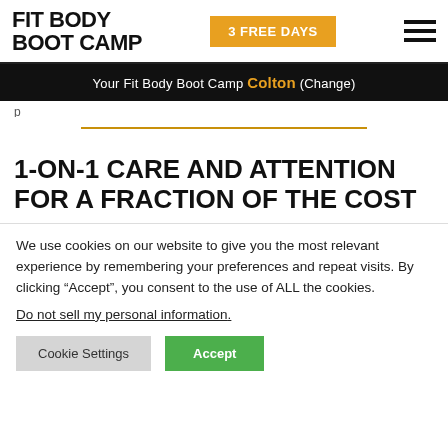FIT BODY BOOT CAMP | 3 FREE DAYS
Your Fit Body Boot Camp Colton (Change)
[Figure (other): Gold horizontal divider line]
1-ON-1 CARE AND ATTENTION FOR A FRACTION OF THE COST
We use cookies on our website to give you the most relevant experience by remembering your preferences and repeat visits. By clicking “Accept”, you consent to the use of ALL the cookies.
Do not sell my personal information.
Cookie Settings | Accept